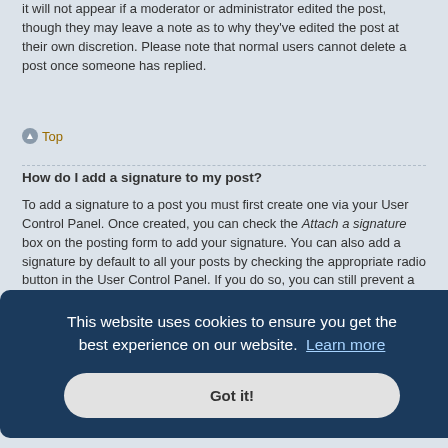it will not appear if a moderator or administrator edited the post, though they may leave a note as to why they've edited the post at their own discretion. Please note that normal users cannot delete a post once someone has replied.
Top
How do I add a signature to my post?
To add a signature to a post you must first create one via your User Control Panel. Once created, you can check the Attach a signature box on the posting form to add your signature. You can also add a signature by default to all your posts by checking the appropriate radio button in the User Control Panel. If you do so, you can still prevent a signature being added to individual posts by un-checking the add signature box within the posting form.
Top
[Figure (screenshot): Cookie consent banner overlay with dark blue background, text 'This website uses cookies to ensure you get the best experience on our website. Learn more' and a 'Got it!' button]
Poll ... do not ... two ... rate line in ... during ... finite
Top